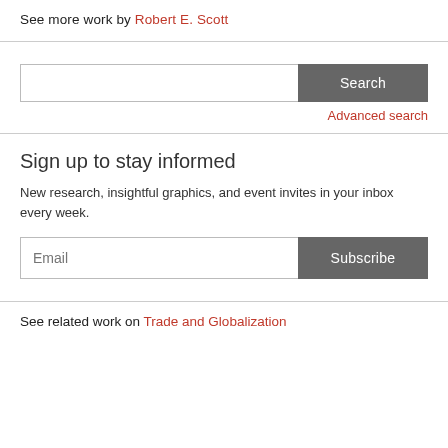See more work by Robert E. Scott
Search [input] Search button / Advanced search
Sign up to stay informed
New research, insightful graphics, and event invites in your inbox every week.
Email [input] Subscribe button
See related work on Trade and Globalization